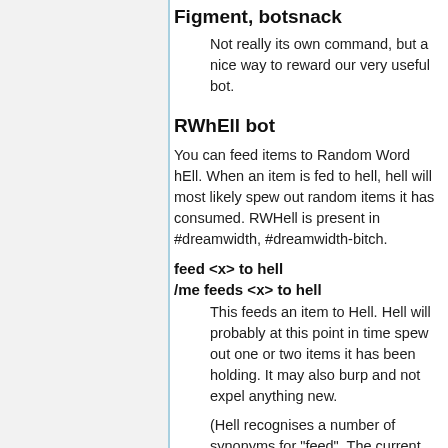Figment, botsnack
Not really its own command, but a nice way to reward our very useful bot.
RWhEll bot
You can feed items to Random Word hEll. When an item is fed to hell, hell will most likely spew out random items it has consumed. RWHell is present in #dreamwidth, #dreamwidth-bitch.
feed <x> to hell
/me feeds <x> to hell
This feeds an item to Hell. Hell will probably at this point in time spew out one or two items it has been holding. It may also burp and not expel anything new.
(Hell recognises a number of synonyms for "feed". The current list